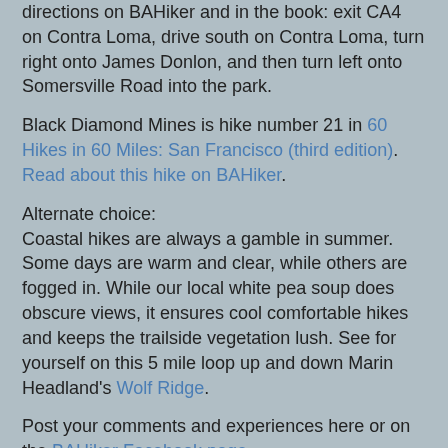directions on BAHiker and in the book: exit CA4 on Contra Loma, drive south on Contra Loma, turn right onto James Donlon, and then turn left onto Somersville Road into the park.
Black Diamond Mines is hike number 21 in 60 Hikes in 60 Miles: San Francisco (third edition). Read about this hike on BAHiker.
Alternate choice:
Coastal hikes are always a gamble in summer. Some days are warm and clear, while others are fogged in. While our local white pea soup does obscure views, it ensures cool comfortable hikes and keeps the trailside vegetation lush. See for yourself on this 5 mile loop up and down Marin Headland's Wolf Ridge.
Post your comments and experiences here or on the BAHiker Facebook page.
Jane Huber at 9:54 AM
9 comments: